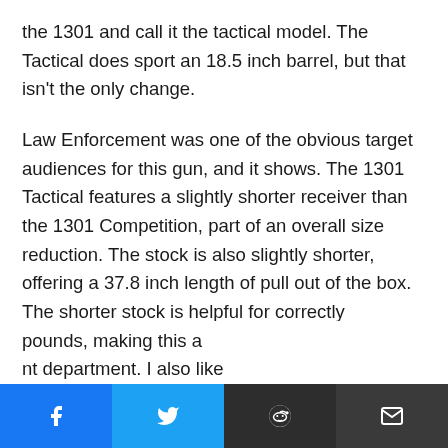the 1301 and call it the tactical model. The Tactical does sport an 18.5 inch barrel, but that isn't the only change.

Law Enforcement was one of the obvious target audiences for this gun, and it shows. The 1301 Tactical features a slightly shorter receiver than the 1301 Competition, part of an overall size reduction. The stock is also slightly shorter, offering a 37.8 inch length of pull out of the box. The shorter stock is helpful for correctly shouldering the gun if you are wearing a vest, similar to collapsing an M-4 stock one position if you are in armor. The shotguns overall length is 37.8 inches, making it easy to maneuver in CQB or your car.
pounds, making this a nt department. I also like
[Figure (other): Social share bar with Facebook, Twitter, Reddit, and Email buttons]